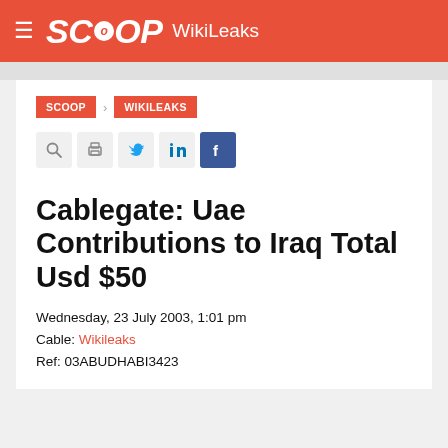SCOOP WikiLeaks
SCOOP > WIKILEAKS
Cablegate: Uae Contributions to Iraq Total Usd $50
Wednesday, 23 July 2003, 1:01 pm
Cable: Wikileaks
Ref: 03ABUDHABI3423